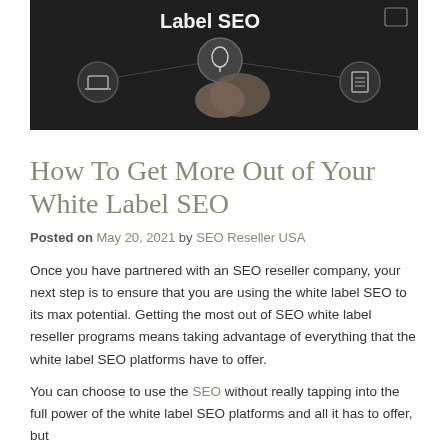[Figure (photo): Dark background hero image showing hands interacting with digital icons/nodes connected by lines, with 'Label SEO' text overlay in white]
How To Get More Out of Your White Label SEO
Posted on May 20, 2021 by SEO Reseller USA
Once you have partnered with an SEO reseller company, your next step is to ensure that you are using the white label SEO to its max potential. Getting the most out of SEO white label reseller programs means taking advantage of everything that the white label SEO platforms have to offer.
You can choose to use the SEO without really tapping into the full power of the white label SEO platforms and all it has to offer, but